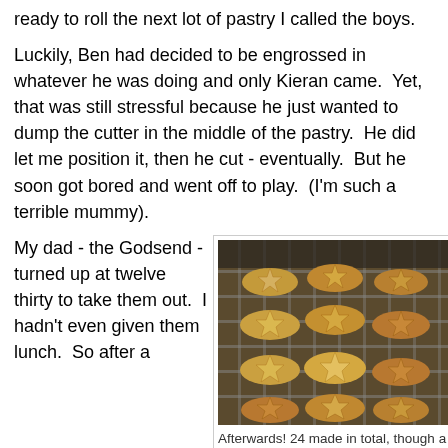ready to roll the next lot of pastry I called the boys.
Luckily, Ben had decided to be engrossed in whatever he was doing and only Kieran came.  Yet, that was still stressful because he just wanted to dump the cutter in the middle of the pastry.  He did let me position it, then he cut - eventually.  But he soon got bored and went off to play.  (I'm such a terrible mummy).
My dad - the Godsend - turned up at twelve thirty to take them out.  I hadn't even given them lunch.  So after a
[Figure (photo): Photo of mince pies with star-shaped pastry tops cooling on a wire rack on a wooden surface.]
Afterwards! 24 made in total, though a few had to be tested!